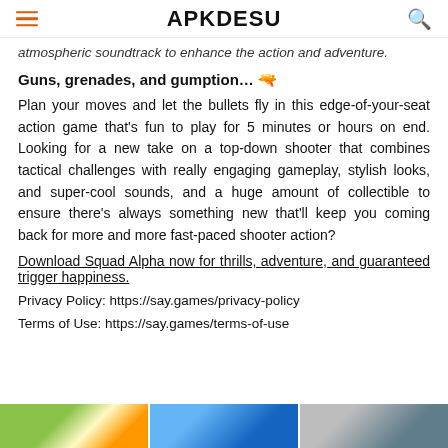APKDESU
atmospheric soundtrack to enhance the action and adventure.
Guns, grenades, and gumption… 🔫
Plan your moves and let the bullets fly in this edge-of-your-seat action game that's fun to play for 5 minutes or hours on end. Looking for a new take on a top-down shooter that combines tactical challenges with really engaging gameplay, stylish looks, and super-cool sounds, and a huge amount of collectible to ensure there's always something new that'll keep you coming back for more and more fast-paced shooter action?
Download Squad Alpha now for thrills, adventure, and guaranteed trigger happiness.
Privacy Policy: https://say.games/privacy-policy
Terms of Use: https://say.games/terms-of-use
[Figure (screenshot): Three game screenshot thumbnails at the bottom of the page]